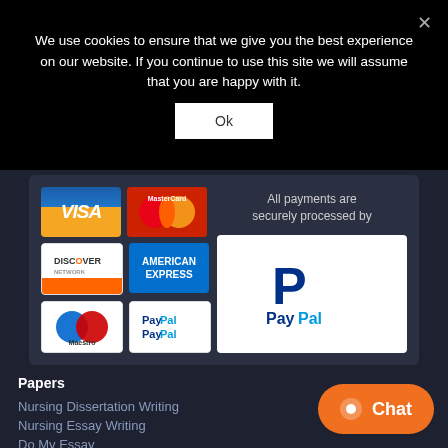We use cookies to ensure that we give you the best experience on our website. If you continue to use this site we will assume that you are happy with it.
Ok
[Figure (infographic): Payment methods banner showing Visa, MasterCard, Discover, American Express, Maestro, PayPal logos with text 'All payments are securely processed by' and large PayPal logo]
Papers
Nursing Dissertation Writing
Nursing Essay Writing
Do My Essay
Cheap Term Papers
Chat